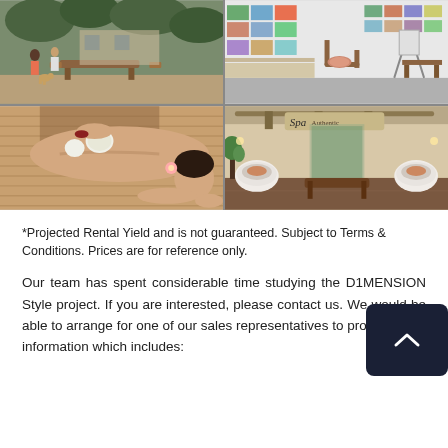[Figure (photo): Grid of four photographs: top-left shows an open-air restaurant/cafe with wooden furniture and trees; top-right shows an art gallery interior with photos on walls and wooden chairs; bottom-left shows a woman receiving a spa massage treatment with herbal compresses; bottom-right shows a spa reception/lobby area with 'Spa Authentic' signage and lounge chairs.]
*Projected Rental Yield and is not guaranteed. Subject to Terms & Conditions. Prices are for reference only.
Our team has spent considerable time studying the D1MENSION Style project. If you are interested, please contact us. We would be able to arrange for one of our sales representatives to provide more information which includes: